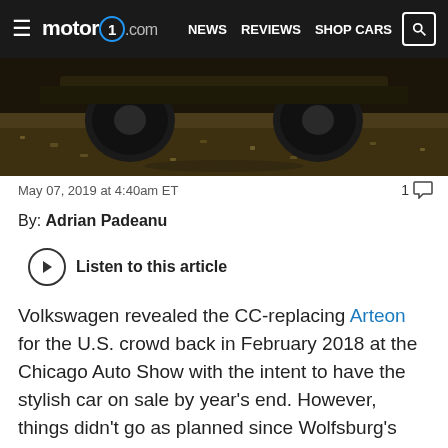motor1.com — NEWS  REVIEWS  SHOP CARS
[Figure (photo): Bottom portion of a car (undercarriage and wheel visible) on a gravel/dirt surface, dark moody lighting]
May 07, 2019 at 4:40am ET
1 comment
By: Adrian Padeanu
Listen to this article
Volkswagen revealed the CC-replacing Arteon for the U.S. crowd back in February 2018 at the Chicago Auto Show with the intent to have the stylish car on sale by year's end. However, things didn't go as planned since Wolfsburg's Audi A5 Sportback was delayed due to the switch from NEDC to WLTP in Europe, which caused a backlog in meeting the stricter emissions regulations.